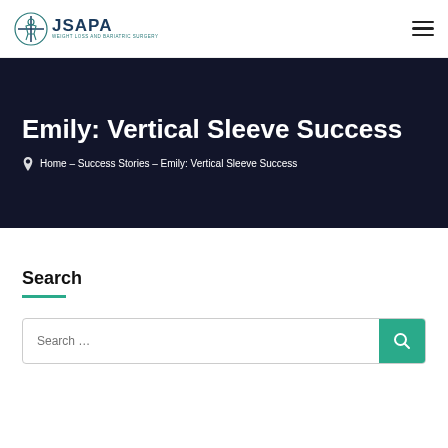JSAPA Weight Loss and Bariatric Surgery
Emily: Vertical Sleeve Success
Home – Success Stories – Emily: Vertical Sleeve Success
Search